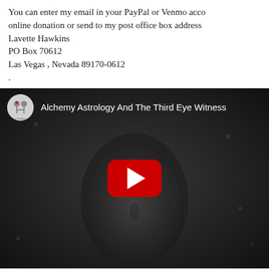You can enter my email in your PayPal or Venmo account for an online donation or send to my post office box address
Lavette Hawkins
PO Box 70612
Las Vegas , Nevada 89170-0612
.
[Figure (screenshot): YouTube video thumbnail showing a dark mystical face illustration with geometric patterns, titled 'Alchemy Astrology And The Third Eye Witness', with a YouTube play button overlay and channel icon in the top left corner.]